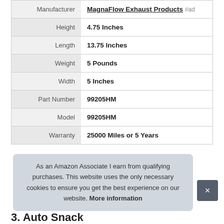| Attribute | Value |
| --- | --- |
| Manufacturer | MagnaFlow Exhaust Products #ad |
| Height | 4.75 Inches |
| Length | 13.75 Inches |
| Weight | 5 Pounds |
| Width | 5 Inches |
| Part Number | 99205HM |
| Model | 99205HM |
| Warranty | 25000 Miles or 5 Years |
As an Amazon Associate I earn from qualifying purchases. This website uses the only necessary cookies to ensure you get the best experience on our website. More information
3. Auto Snack